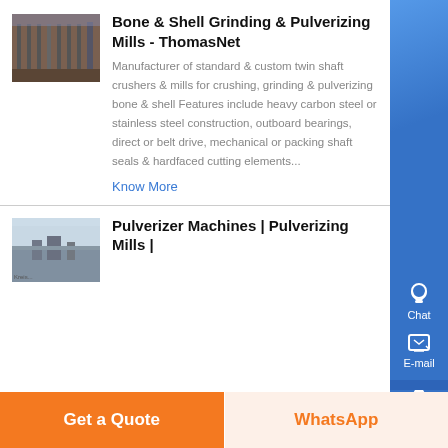Bone & Shell Grinding & Pulverizing Mills - ThomasNet
Manufacturer of standard & custom twin shaft crushers & mills for crushing, grinding & pulverizing bone & shell Features include heavy carbon steel or stainless steel construction, outboard bearings, direct or belt drive, mechanical or packing shaft seals & hardfaced cutting elements...
Know More
Pulverizer Machines | Pulverizing Mills |